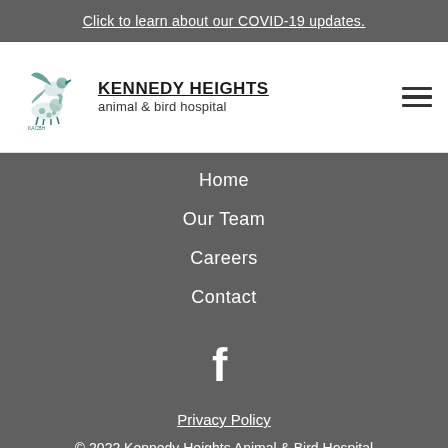Click to learn about our COVID-19 updates.
[Figure (logo): Kennedy Heights Animal & Bird Hospital logo with bird and animal illustration]
KENNEDY HEIGHTS animal & bird hospital
Home
Our Team
Careers
Contact
[Figure (logo): Facebook icon]
Privacy Policy
© 2022 Kennedy Heights Animal & Bird Hospital